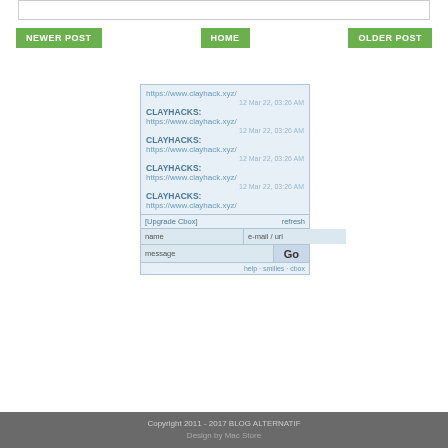[Figure (screenshot): Top white input box area]
NEWER POST
HOME
OLDER POST
[Figure (screenshot): Cbox chat widget showing repeated CLAYHACKS messages with URL https://www.clayhack.xyz/ dated 12 Mar 22, 03:26 AM, with name/email input fields, message field, Go button, and help/smilies/cbox links]
Copyright 2011 - 2017 BLOG ALTERNATIF